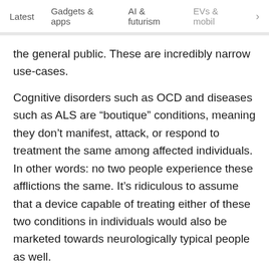Latest   Gadgets & apps   AI & futurism   EVs & mobil >
the general public. These are incredibly narrow use-cases.
Cognitive disorders such as OCD and diseases such as ALS are “boutique” conditions, meaning they don’t manifest, attack, or respond to treatment the same among affected individuals. In other words: no two people experience these afflictions the same. It’s ridiculous to assume that a device capable of treating either of these two conditions in individuals would also be marketed towards neurologically typical people as well.
Austin Howard · Jul 19, 2020
@a_howard8 · Follow